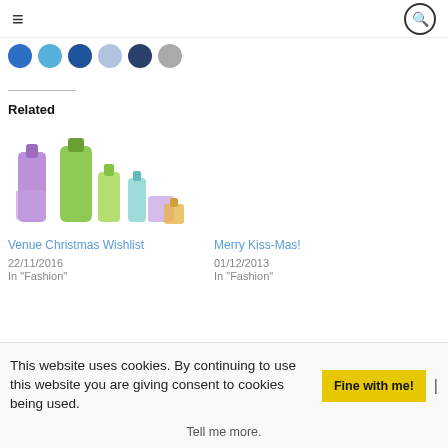≡  🔍
[Figure (illustration): Row of six social media circular icon buttons in blue, light blue, dark blue, light grey-blue, navy, and grey]
Related
[Figure (photo): Colorful gift bottles and packages in purple, green, teal and gold against white background]
Venue Christmas Wishlist
22/11/2016
In "Fashion"
Merry Kiss-Mas!
01/12/2013
In "Fashion"
This website uses cookies. By continuing to use this website you are giving consent to cookies being used.  Fine with me! | Tell me more.